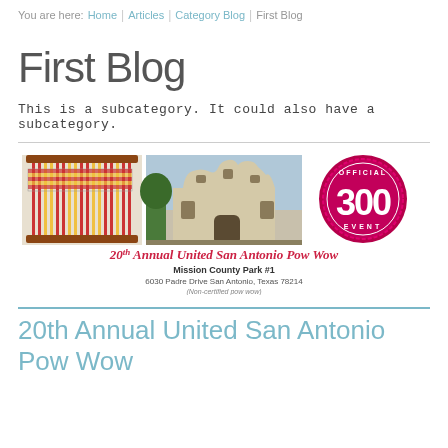You are here: Home | Articles | Category Blog | First Blog
First Blog
This is a subcategory. It could also have a subcategory.
[Figure (infographic): Advertisement banner for 20th Annual United San Antonio Pow Wow at Mission County Park #1, 6030 Padre Drive, San Antonio, Texas 78214, with images of a weaving, the Alamo, and an Official 300 Event seal.]
20th Annual United San Antonio Pow Wow